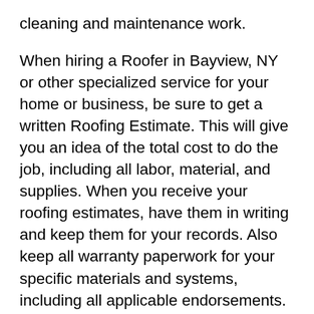cleaning and maintenance work.
When hiring a Roofer in Bayview, NY or other specialized service for your home or business, be sure to get a written Roofing Estimate. This will give you an idea of the total cost to do the job, including all labor, material, and supplies. When you receive your roofing estimates, have them in writing and keep them for your records. Also keep all warranty paperwork for your specific materials and systems, including all applicable endorsements. If you ever need to file a claim, your insurance company should be able to provide you with a copy of your Roofer's or other company's insurance claim record.
Roofing contractors and roofers offer a wide variety of services including but not limited to: tile and shingle replacement, pre-cut composite roofing, pre-cut felt and tile roofing, tar and gravel roofing, customized roofs, roof repairs, and roofing